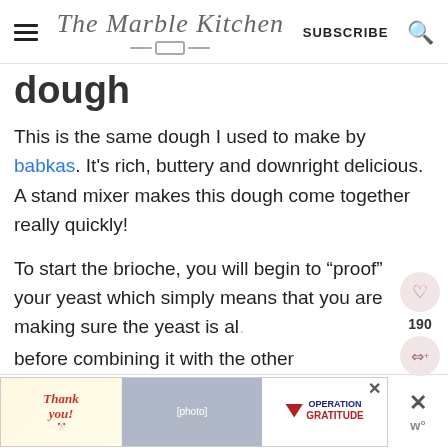The Marble Kitchen | SUBSCRIBE
dough
This is the same dough I used to make by babkas. It's rich, buttery and downright delicious. A stand mixer makes this dough come together really quickly!
To start the brioche, you will begin to "proof" your yeast which simply means that you are making sure the yeast is al... before combining it with the other
[Figure (screenshot): Advertisement bar at bottom: Thank You / Operation Gratitude ad with close buttons]